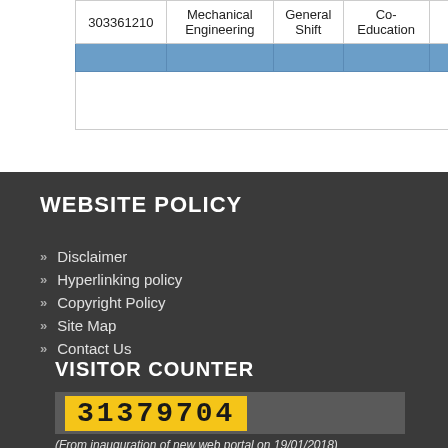|  | Department | Shift | Type |  | Year |
| --- | --- | --- | --- | --- | --- |
| 303361210 | Mechanical Engineering | General Shift | Co-Education |  | 1992 |
|  |  |  |  |  | Total |
|  |  |  |  |  |  |
WEBSITE POLICY
Disclaimer
Hyperlinking policy
Copyright Policy
Site Map
Contact Us
VISITOR COUNTER
31379704
(From inauguration of new web portal on 19/01/2018)